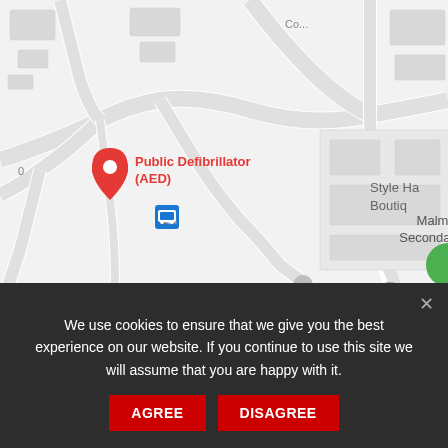[Figure (map): Google Maps screenshot showing a location pin labeled 'Public Defibrillator (AED)' in red, with a bus stop icon nearby, and 'Malmesbury Secondary School' and partial text 'Style Ha... Boutiq...' visible on the map. Streets and building outlines are visible.]
We use cookies to ensure that we give you the best experience on our website. If you continue to use this site we will assume that you are happy with it.
AGREE
DISAGREE